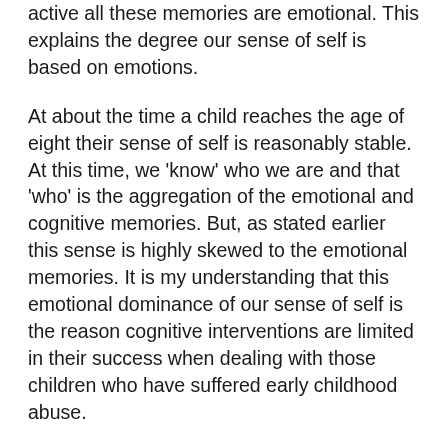active all these memories are emotional. This explains the degree our sense of self is based on emotions.
At about the time a child reaches the age of eight their sense of self is reasonably stable. At this time, we 'know' who we are and that 'who' is the aggregation of the emotional and cognitive memories. But, as stated earlier this sense is highly skewed to the emotional memories. It is my understanding that this emotional dominance of our sense of self is the reason cognitive interventions are limited in their success when dealing with those children who have suffered early childhood abuse.
Many, or most of these damaged kids suffer from Toxic Shame, that is they don't make mistakes, they are mistakes (see Newsletters